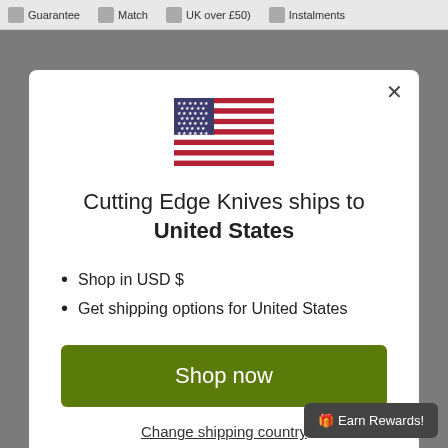Guarantee  Match  UK over £50)  Instalments
[Figure (illustration): United States flag icon]
Cutting Edge Knives ships to United States
Shop in USD $
Get shipping options for United States
Shop now
Change shipping country
🎁 Earn Rewards!